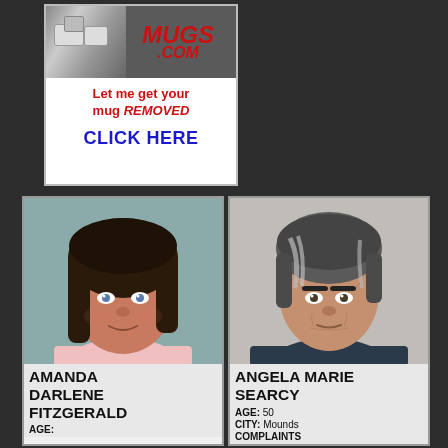[Figure (other): Advertisement banner for a mugshot removal service. Shows 'MUGS.COM - Let me get your mug REMOVED - CLICK HERE' with red and blue text on white background.]
[Figure (photo): Mugshot photo of Amanda Darlene Fitzgerald, a young white woman with long dark brown hair, facing forward against a teal/gray background.]
AMANDA DARLENE FITZGERALD
AGE:
[Figure (photo): Mugshot photo of Angela Marie Searcy, a middle-aged woman with gray-streaked dark hair, facing forward against a light background.]
ANGELA MARIE SEARCY
AGE: 50
CITY: Mounds
COMPLAINTS